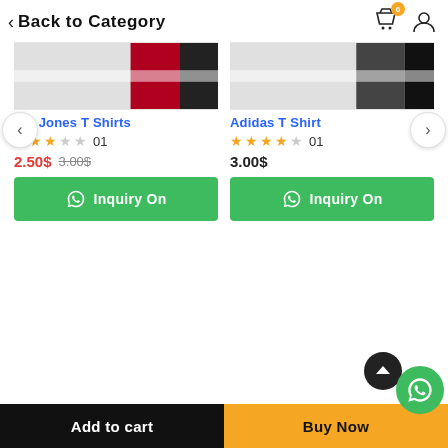Back to Category
[Figure (screenshot): Two product cards side by side: left card shows a T-shirt image with red and dark accents (Jack & Jones T Shirts, 3 stars, 01 reviews, 2.50$ sale price, 3.00$ original price, Inquiry On button); right card shows a T-shirt image with dark accents (Adidas T Shirt, 4 stars, 01 reviews, 3.00$ price, Inquiry On button). Navigation arrows on left and right.]
Payment
Add to cart
Buy Now